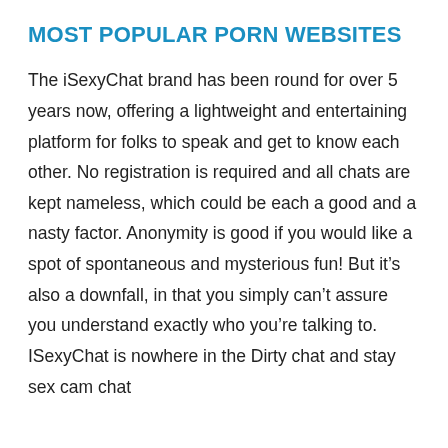MOST POPULAR PORN WEBSITES
The iSexyChat brand has been round for over 5 years now, offering a lightweight and entertaining platform for folks to speak and get to know each other. No registration is required and all chats are kept nameless, which could be each a good and a nasty factor. Anonymity is good if you would like a spot of spontaneous and mysterious fun! But it’s also a downfall, in that you simply can’t assure you understand exactly who you’re talking to. ISexyChat is nowhere in the Dirty chat and stay sex cam chat